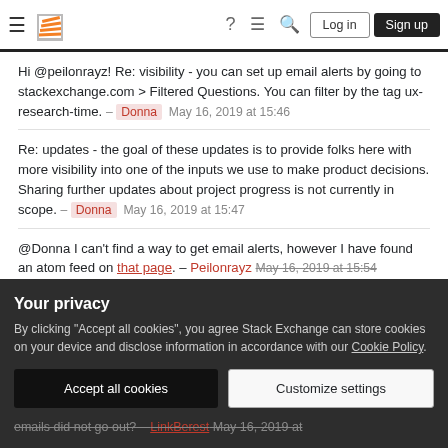Stack Exchange navigation bar with hamburger menu, logo, help, chat, search icons, Log in and Sign up buttons
Hi @peilonrayz! Re: visibility - you can set up email alerts by going to stackexchange.com > Filtered Questions. You can filter by the tag ux-research-time. – Donna May 16, 2019 at 15:46
Re: updates - the goal of these updates is to provide folks here with more visibility into one of the inputs we use to make product decisions. Sharing further updates about project progress is not currently in scope. – Donna May 16, 2019 at 15:47
@Donna I can't find a way to get email alerts, however I have found an atom feed on that page. – Peilonrayz May 16, 2019 at 15:54
Your privacy
By clicking "Accept all cookies", you agree Stack Exchange can store cookies on your device and disclose information in accordance with our Cookie Policy.
emails did not go out? – LinkBerest May 16, 2019 at